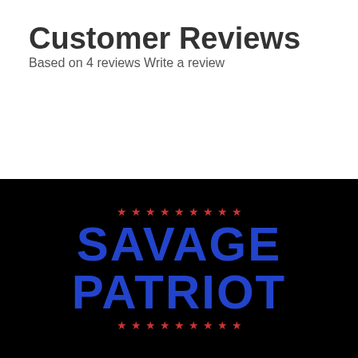Customer Reviews
Based on 4 reviews Write a review
[Figure (logo): Savage Patriot logo: bold blue text reading SAVAGE PATRIOT with red stars above and below on a black background]